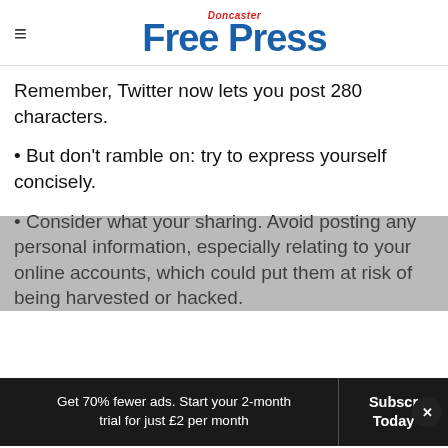Doncaster Free Press
Remember, Twitter now lets you post 280 characters.
• But don't ramble on: try to express yourself concisely.
• Consider what your sharing. Avoid posting any personal information, especially relating to your online accounts, which could put them at risk of being harvested or hacked.
Get 70% fewer ads. Start your 2-month trial for just £2 per month  Subscribe Today